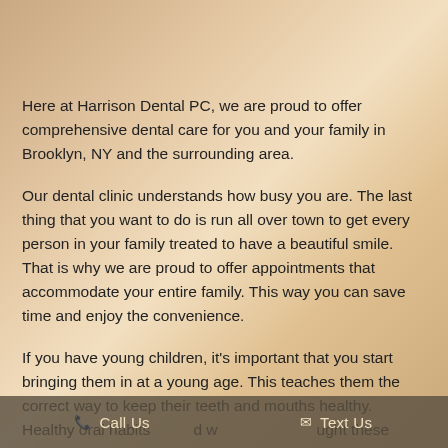[Figure (photo): Close-up photo of a person's face/skin, appearing as a cropped header image at the top of the page]
Here at Harrison Dental PC, we are proud to offer comprehensive dental care for you and your family in Brooklyn, NY and the surrounding area.
Our dental clinic understands how busy you are. The last thing that you want to do is run all over town to get every person in your family treated to have a beautiful smile. That is why we are proud to offer appointments that accommodate your entire family. This way you can save time and enjoy the convenience.
If you have young children, it's important that you start bringing them in at a young age. This teaches them the correct way to keep their teeth and mouths healthy. Healthy oral habits d w ught these habi oun re likely